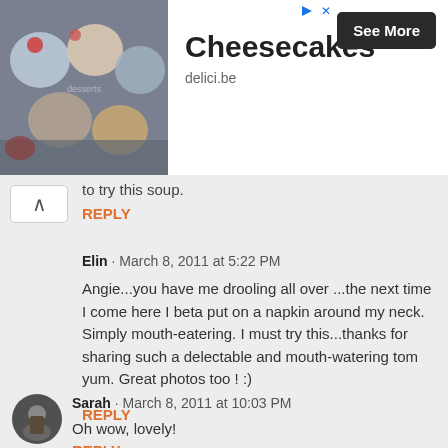[Figure (photo): Advertisement banner showing cheesecakes/desserts in jars photo on left, with title 'Cheesecakes', domain 'delici.be', and a 'See More' button on right]
to try this soup.
REPLY
Elin · March 8, 2011 at 5:22 PM
Angie...you have me drooling all over ...the next time I come here I beta put on a napkin around my neck. Simply mouth-eatering. I must try this...thanks for sharing such a delectable and mouth-watering tom yum. Great photos too ! :)
REPLY
Sarah · March 8, 2011 at 10:03 PM
Oh wow, lovely!
REPLY